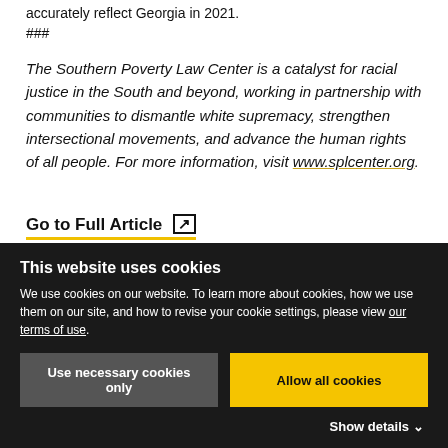accurately reflect Georgia in 2021.
###
The Southern Poverty Law Center is a catalyst for racial justice in the South and beyond, working in partnership with communities to dismantle white supremacy, strengthen intersectional movements, and advance the human rights of all people. For more information, visit www.splcenter.org.
Go to Full Article ↗
This website uses cookies
We use cookies on our website. To learn more about cookies, how we use them on our site, and how to revise your cookie settings, please view our terms of use.
Use necessary cookies only
Allow all cookies
Show details